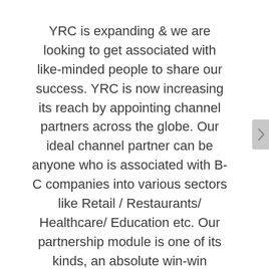YRC is expanding & we are looking to get associated with like-minded people to share our success. YRC is now increasing its reach by appointing channel partners across the globe. Our ideal channel partner can be anyone who is associated with B-C companies into various sectors like Retail / Restaurants/ Healthcare/ Education etc. Our partnership module is one of its kinds, an absolute win-win partnership between the company and the channel partner.